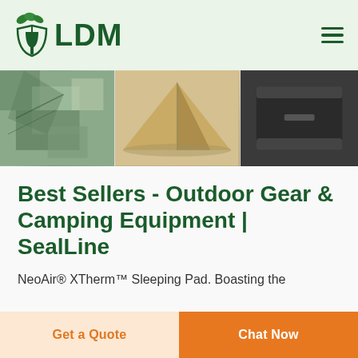LDM
[Figure (photo): Three product images in a horizontal strip: camouflage fabric/tarp material, a tan/brown camping tent, and a black storage/equipment box]
Best Sellers - Outdoor Gear & Camping Equipment | SealLine
NeoAir® XTherm™ Sleeping Pad. Boasting the
Get a Quote
Chat Now